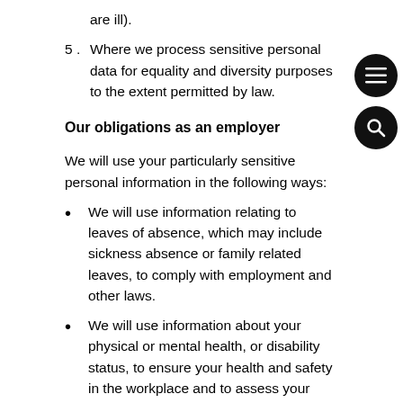5.  Where we process sensitive personal data for equality and diversity purposes to the extent permitted by law.
Our obligations as an employer
We will use your particularly sensitive personal information in the following ways:
We will use information relating to leaves of absence, which may include sickness absence or family related leaves, to comply with employment and other laws.
We will use information about your physical or mental health, or disability status, to ensure your health and safety in the workplace and to assess your fitness to work, to provide appropriate workplace adjustments, to monitor and manage sickness absence and to